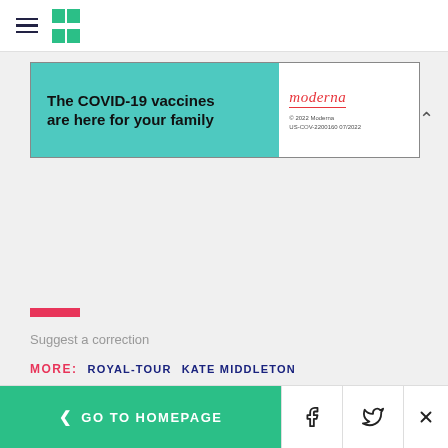HuffPost navigation header with hamburger menu and logo
[Figure (other): COVID-19 vaccine advertisement banner for Moderna. Left teal section: 'The COVID-19 vaccines are here for your family'. Right white section: Moderna logo with '© 2022 Moderna US-COV-2200160 07/2022']
Suggest a correction
MORE:   ROYAL-TOUR   KATE MIDDLETON
KATE MIDDLETON PRINCE WILLIAM   TUVALU
< GO TO HOMEPAGE  [Facebook] [Twitter] [X]